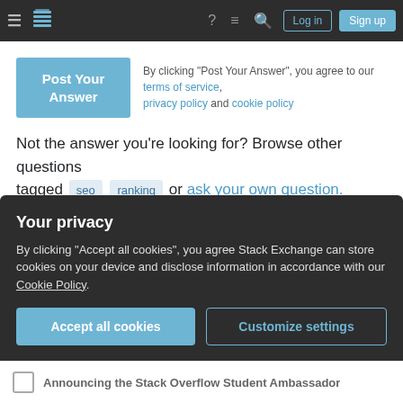[Figure (screenshot): Stack Overflow navigation bar with hamburger menu, logo, help icon, chat icon, search icon, Login and Sign up buttons on dark background]
By clicking "Post Your Answer", you agree to our terms of service, privacy policy and cookie policy
Not the answer you're looking for? Browse other questions tagged seo ranking or ask your own question.
The Overflow Blog
Stack Overflow is launching a Student Ambassador program. Here's how to apply.
Your privacy
By clicking "Accept all cookies", you agree Stack Exchange can store cookies on your device and disclose information in accordance with our Cookie Policy.
Announcing the Stack Overflow Student Ambassador
[Figure (screenshot): Two buttons: Accept all cookies (teal filled) and Customize settings (teal outlined)]